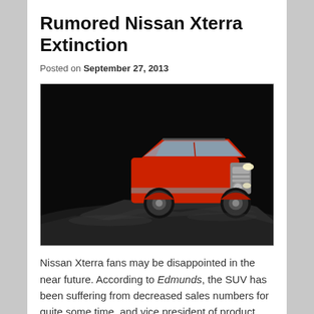Rumored Nissan Xterra Extinction
Posted on September 27, 2013
[Figure (photo): Red Nissan Xterra SUV parked on rocky terrain against a dark dramatic background]
Nissan Xterra fans may be disappointed in the near future. According to Edmunds, the SUV has been suffering from decreased sales numbers for quite some time, and vice president of product planning for Nissan